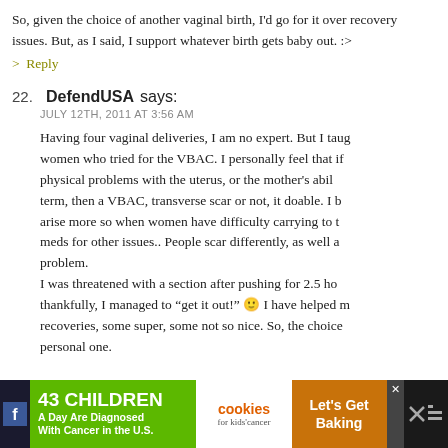So, given the choice of another vaginal birth, I'd go for it over recovery issues. But, as I said, I support whatever birth gets baby out. :>
> Reply
22. DefendUSA says: JULY 12TH, 2011 AT 3:56 AM
Having four vaginal deliveries, I am no expert. But I taught women who tried for the VBAC. I personally feel that if there are no physical problems with the uterus, or the mother's ability to carry to term, then a VBAC, transverse scar or not, it doable. I believe issues arise more so when women have difficulty carrying to term, or taking meds for other issues.. People scar differently, as well as the problem. I was threatened with a section after pushing for 2.5 hours and thankfully, I managed to "get it out!" 🙂 I have helped many in recoveries, some super, some not so nice. So, the choice is a personal one.
[Figure (screenshot): Advertisement banner for cookies for kids cancer charity - '43 CHILDREN A Day Are Diagnosed With Cancer in the U.S.' with Let's Get Baking link]